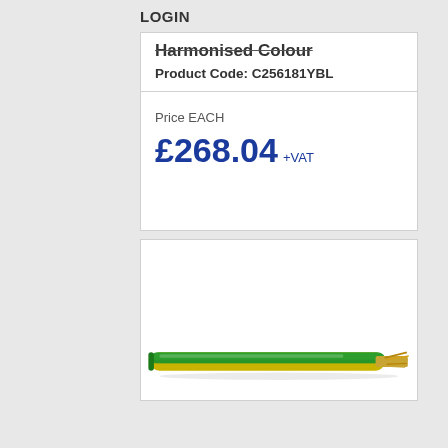LOGIN
Harmonised Colour
Product Code: C256181YBL
Price EACH
£268.04 +VAT
[Figure (photo): A green and yellow earth cable with exposed copper strands at one end, photographed on a white background.]